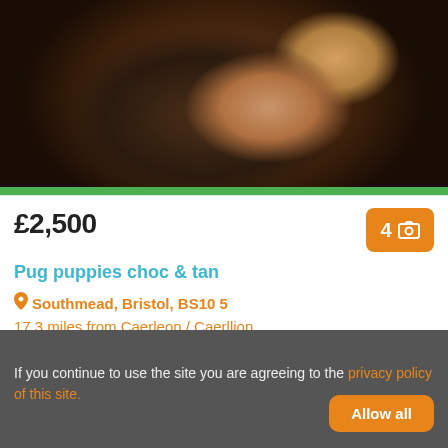[Figure (photo): Close-up photo of pug puppies, chocolate and tan coloring, sleeping or resting together]
£2,500
Pug puppies choc & tan
Southmead, Bristol, BS10 5
17.3 miles from Caerleon / Caerllion
My girl has had a beautiful litter of pug puppies. There
Pug
If you continue to use the site you are agreeing to the privacy policy of this site.
Allow all